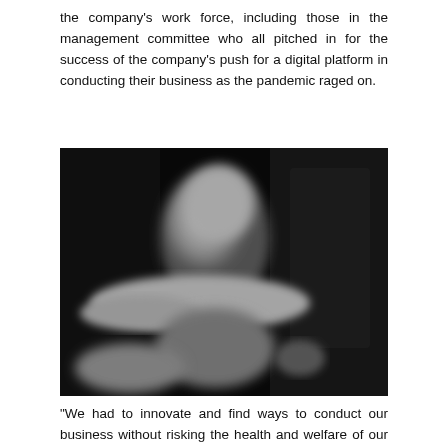the company's work force, including those in the management committee who all pitched in for the success of the company's push for a digital platform in conducting their business as the pandemic raged on.
[Figure (photo): Black and white blurred photograph of a person in a dark setting, appears to be in an office or indoor environment.]
"We had to innovate and find ways to conduct our business without risking the health and welfare of our employees," Eugene said. He joined the